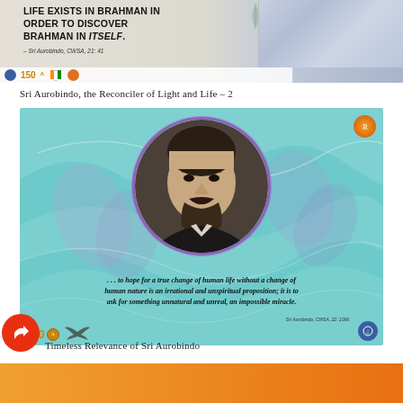[Figure (illustration): Top banner image with bold quote text 'LIFE EXISTS IN BRAHMAN IN ORDER TO DISCOVER BRAHMAN IN ITSELF.' attributed to Sri Aurobindo, CWSA, 21:41, with decorative leaf, fabric texture on right, and anniversary logos at bottom]
Sri Aurobindo, the Reconciler of Light and Life – 2
[Figure (illustration): Main decorative image with teal/turquoise marble swirl background, circular portrait of Sri Aurobindo in center, orange logo top right, quote text '... to hope for a true change of human life without a change of human nature is an irrational and unspiritual proposition; it is to ask for something unnatural and unreal, an impossible miracle.' attributed to Sri Aurobindo, CWSA, 22:1096, with 150th anniversary badge and logos at bottom]
Timeless Relevance of Sri Aurobindo